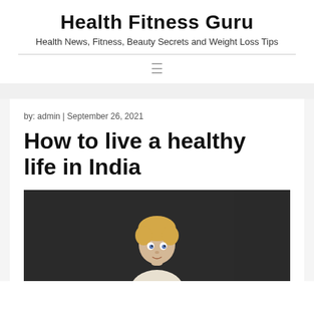Health Fitness Guru
Health News, Fitness, Beauty Secrets and Weight Loss Tips
by: admin | September 26, 2021
How to live a healthy life in India
[Figure (photo): Photo of a young blonde child against a dark background, cropped at bottom of page]